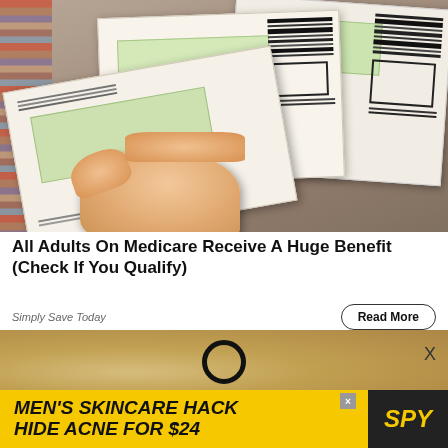[Figure (photo): A hand holding several papers/checks with barcodes and a windowed envelope section, overlaid on what appears to be a clothing rack background]
All Adults On Medicare Receive A Huge Benefit (Check If You Qualify)
Simply Save Today
[Figure (photo): Partial image showing a sandy/stone background with a metal ring or hook visible, with an X close button]
[Figure (infographic): Advertisement banner: MEN'S SKINCARE HACK HIDE ACNE FOR $24 with SPY logo]